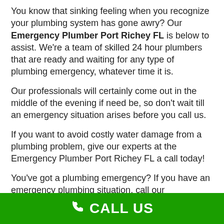You know that sinking feeling when you recognize your plumbing system has gone awry? Our Emergency Plumber Port Richey FL is below to assist. We're a team of skilled 24 hour plumbers that are ready and waiting for any type of plumbing emergency, whatever time it is.
Our professionals will certainly come out in the middle of the evening if need be, so don't wait till an emergency situation arises before you call us.
If you want to avoid costly water damage from a plumbing problem, give our experts at the Emergency Plumber Port Richey FL a call today!
You've got a plumbing emergency? If you have an emergency plumbing situation, call our professionals at Emergency Plumber Port Richey FL. We are offered 24 hours a day as well as we'll exist in no time at all to take control of the situation.
CALL US